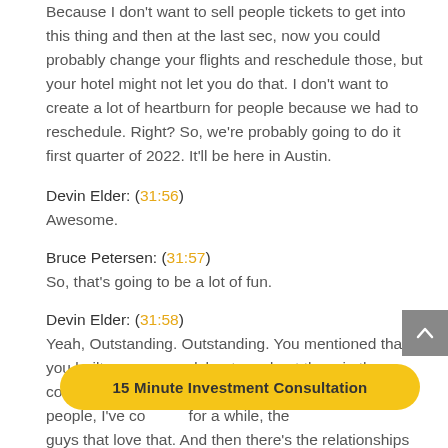Because I don't want to sell people tickets to get into this thing and then at the last sec, now you could probably change your flights and reschedule those, but your hotel might not let you do that. I don't want to create a lot of heartburn for people because we had to reschedule. Right? So, we're probably going to do it first quarter of 2022. It'll be here in Austin.
Devin Elder: (31:56)
Awesome.
Bruce Petersen: (31:57)
So, that's going to be a lot of fun.
Devin Elder: (31:58)
Yeah, Outstanding. Outstanding. You mentioned that you built some spreadsheets and put them in the course and it seems to me, I've talked to a lot of people, I've co... for a while, the... guys that love that. And then there's the relationships
15 Minute Investment Consultation